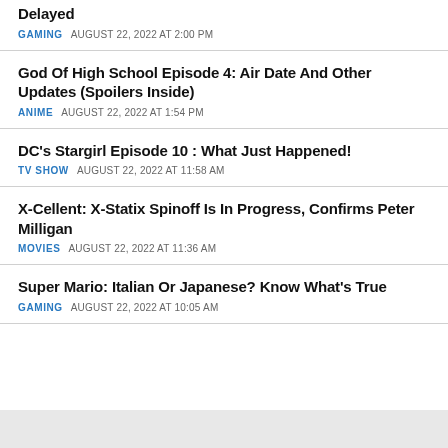Delayed
GAMING   AUGUST 22, 2022 AT 2:00 PM
God Of High School Episode 4: Air Date And Other Updates (Spoilers Inside)
ANIME   AUGUST 22, 2022 AT 1:54 PM
DC's Stargirl Episode 10 : What Just Happened!
TV SHOW   AUGUST 22, 2022 AT 11:58 AM
X-Cellent: X-Statix Spinoff Is In Progress, Confirms Peter Milligan
MOVIES   AUGUST 22, 2022 AT 11:36 AM
Super Mario: Italian Or Japanese? Know What's True
GAMING   AUGUST 22, 2022 AT 10:05 AM